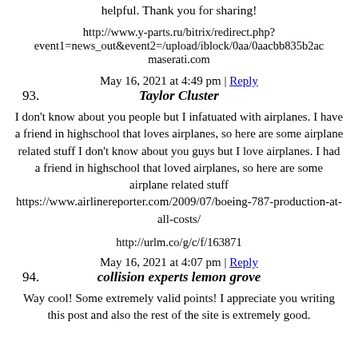helpful. Thank you for sharing!
http://www.y-parts.ru/bitrix/redirect.php?event1=news_out&event2=/upload/iblock/0aa/0aacbb835b2ac maserati.com
May 16, 2021 at 4:49 pm | Reply
93. Taylor Cluster
I don't know about you people but I infatuated with airplanes. I have a friend in highschool that loves airplanes, so here are some airplane related stuff I don't know about you guys but I love airplanes. I had a friend in highschool that loved airplanes, so here are some airplane related stuff https://www.airlinereporter.com/2009/07/boeing-787-production-at-all-costs/
http://urlm.co/g/c/f/163871
May 16, 2021 at 4:07 pm | Reply
94. collision experts lemon grove
Way cool! Some extremely valid points! I appreciate you writing this post and also the rest of the site is extremely good.